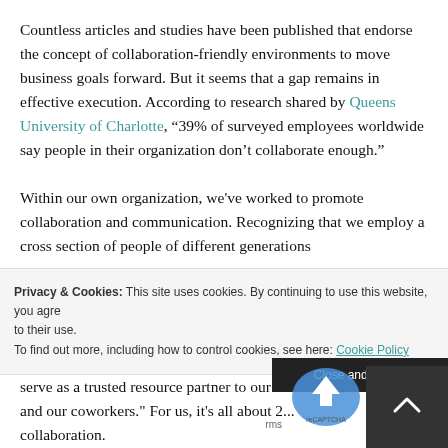Countless articles and studies have been published that endorse the concept of collaboration-friendly environments to move business goals forward. But it seems that a gap remains in effective execution. According to research shared by Queens University of Charlotte, “39% of surveyed employees worldwide say people in their organization don’t collaborate enough.”
Within our own organization, we've worked to promote collaboration and communication. Recognizing that we employ a cross section of people of different generations
Privacy & Cookies: This site uses cookies. By continuing to use this website, you agree to their use.
To find out more, including how to control cookies, see here: Cookie Policy
serve as a trusted resource partner to our customers, community and our coworkers." For us, it's all about 2... collaboration.